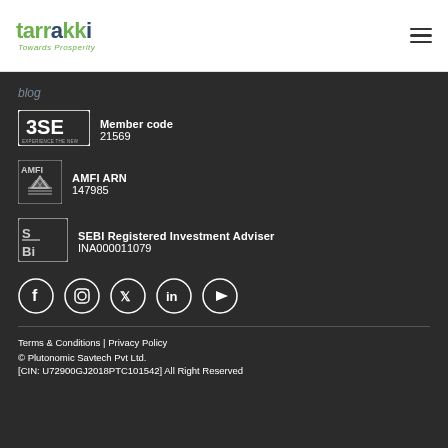tarrakki — Towards Prosperity
blog
[Figure (logo): BSE logo with text 'Member code 21569']
[Figure (logo): AMFI logo with text 'AMFI ARN 147985']
[Figure (logo): SEBI logo with text 'SEBI Registered Investment Adviser INA000011079']
[Figure (infographic): Social media icons: Facebook, Instagram, Twitter, LinkedIn, YouTube]
Terms & Conditions | Privacy Policy
© Plutonomic Savtech Pvt Ltd.
[CIN: U72900GJ2018PTC101542] All Right Reserved